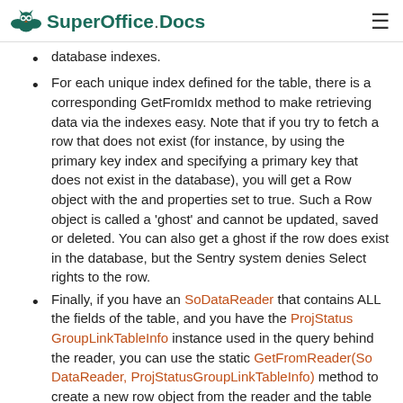SuperOffice Docs
database indexes.
For each unique index defined for the table, there is a corresponding GetFromIdx method to make retrieving data via the indexes easy. Note that if you try to fetch a row that does not exist (for instance, by using the primary key index and specifying a primary key that does not exist in the database), you will get a Row object with the and properties set to true. Such a Row object is called a 'ghost' and cannot be updated, saved or deleted. You can also get a ghost if the row does exist in the database, but the Sentry system denies Select rights to the row.
Finally, if you have an SoDataReader that contains ALL the fields of the table, and you have the ProjStatusGroupLinkTableInfo instance used in the query behind the reader, you can use the static GetFromReader(SoDataReader, ProjStatusGroupLinkTableInfo) method to create a new row object from the reader and the table